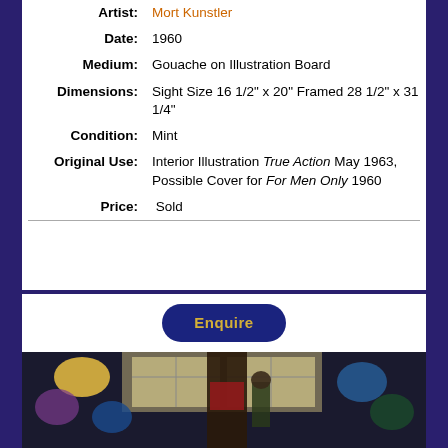| Artist: | Mort Kunstler |
| Date: | 1960 |
| Medium: | Gouache on Illustration Board |
| Dimensions: | Sight Size 16 1/2" x 20" Framed 28 1/2" x 31 1/4" |
| Condition: | Mint |
| Original Use: | Interior Illustration True Action May 1963, Possible Cover for For Men Only 1960 |
| Price: | Sold |
[Figure (illustration): Gouache illustration showing multiple figures in an indoor scene, with a woman in red bikini bottom prominent in the foreground and several other figures in the background.]